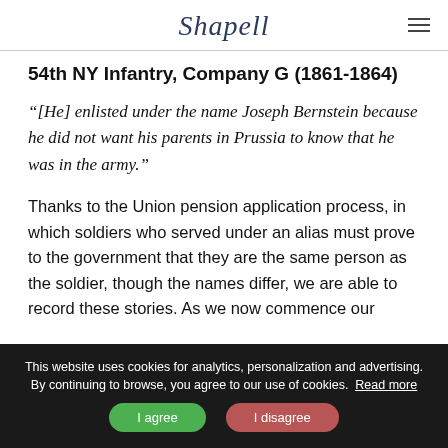Shapell
54th NY Infantry, Company G (1861-1864)
“[He] enlisted under the name Joseph Bernstein because he did not want his parents in Prussia to know that he was in the army.”
Thanks to the Union pension application process, in which soldiers who served under an alias must prove to the government that they are the same person as the soldier, though the names differ, we are able to record these stories. As we now commence our
This website uses cookies for analytics, personalization and advertising. By continuing to browse, you agree to our use of cookies. Read more
I agree
I disagree